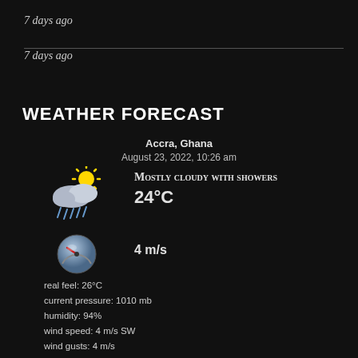7 days ago
7 days ago
WEATHER FORECAST
Accra, Ghana
August 23, 2022, 10:26 am
[Figure (illustration): Weather icon showing partly cloudy with rain showers and sun]
Mostly cloudy with showers
24°C
[Figure (illustration): Wind speed gauge/speedometer icon]
4 m/s
real feel: 26°C
current pressure: 1010 mb
humidity: 94%
wind speed: 4 m/s SW
wind gusts: 4 m/s
UV-Index: 2
sunrise: 5:56 am
sunset: 6:11 pm